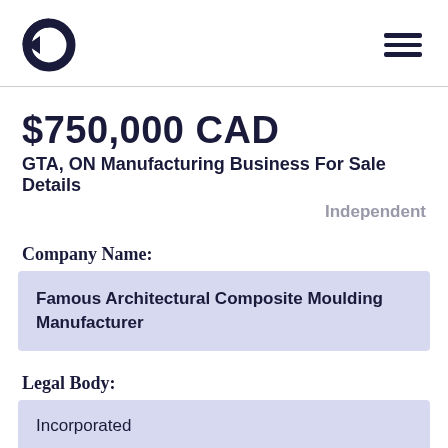$750,000 CAD
GTA, ON Manufacturing Business For Sale Details
Independent
Company Name:
Famous Architectural Composite Moulding Manufacturer
Legal Body:
Incorporated